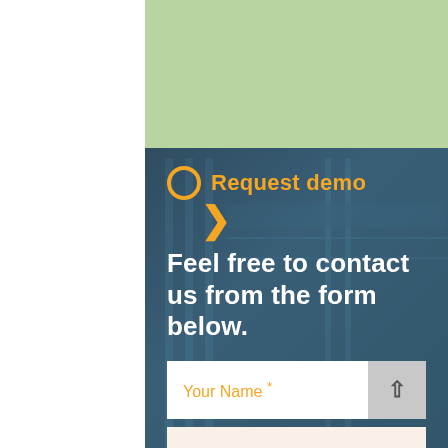[Figure (illustration): Light green rectangular background section at top of page]
Request demo
Feel free to contact us from the form below.
Your Name *
Email address *